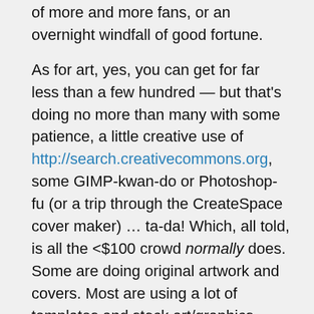of more and more fans, or an overnight windfall of good fortune.
As for art, yes, you can get for far less than a few hundred — but that's doing no more than many with some patience, a little creative use of http://search.creativecommons.org, some GIMP-kwan-do or Photoshop-fu (or a trip through the CreateSpace cover maker) … ta-da! Which, all told, is all the <$100 crowd normally does. Some are doing original artwork and covers. Most are using a lot of templates and stock art/graphics. Stock art and templates can be done for free if one takes the time to do it. Custom art, usually